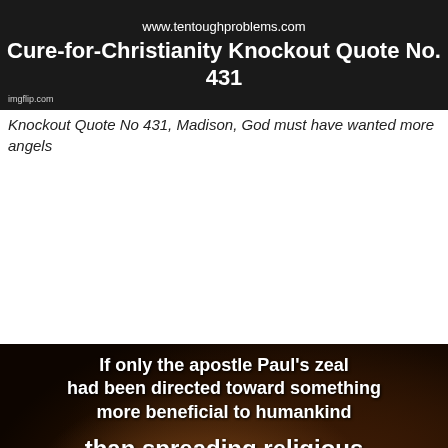[Figure (screenshot): Dark banner image with text: www.tentoughproblems.com and title 'Cure-for-Christianity Knockout Quote No. 431' with imgflip.com watermark]
Knockout Quote No 431, Madison, God must have wanted more angels
[Figure (illustration): Dark painting of a figure (Rembrandt-style portrait) with overlaid white bold text: 'If only the apostle Paul's zeal had been directed toward something more beneficial to humankind than spreading religious crackpottery, by which I mean the ghoulish resurrection superstition—and magical thinking, i.e., you get eternal life if you believe that Jesus was raised from the dead. Straight outta Hogwarts']